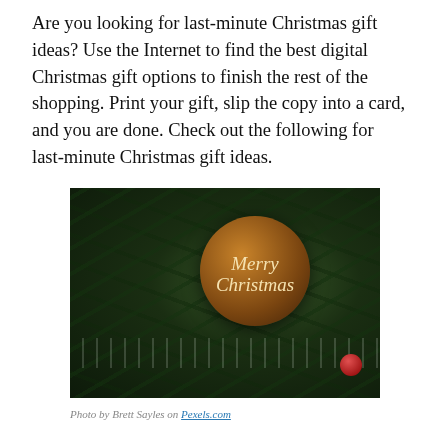Are you looking for last-minute Christmas gift ideas? Use the Internet to find the best digital Christmas gift options to finish the rest of the shopping. Print your gift, slip the copy into a card, and you are done. Check out the following for last-minute Christmas gift ideas.
[Figure (photo): Dark photograph of a Christmas tree with pine branches and a round wooden ornament reading 'Merry Christmas' in cream script lettering. A red ball ornament is visible in the lower right corner.]
Photo by Brett Sayles on Pexels.com